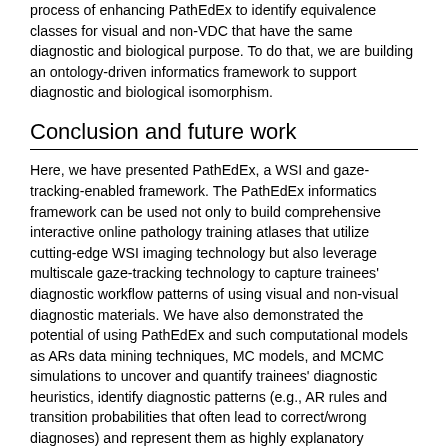process of enhancing PathEdEx to identify equivalence classes for visual and non-VDC that have the same diagnostic and biological purpose. To do that, we are building an ontology-driven informatics framework to support diagnostic and biological isomorphism.
Conclusion and future work
Here, we have presented PathEdEx, a WSI and gaze-tracking-enabled framework. The PathEdEx informatics framework can be used not only to build comprehensive interactive online pathology training atlases that utilize cutting-edge WSI imaging technology but also leverage multiscale gaze-tracking technology to capture trainees' diagnostic workflow patterns of using visual and non-visual diagnostic materials. We have also demonstrated the potential of using PathEdEx and such computational models as ARs data mining techniques, MC models, and MCMC simulations to uncover and quantify trainees' diagnostic heuristics, identify diagnostic patterns (e.g., AR rules and transition probabilities that often lead to correct/wrong diagnoses) and represent them as highly explanatory narrative descriptors that can be readily used in pathology education.
The purpose of the performed heuristic mining studies was only to demonstrate the capabilities of the PathEdEx framework. We plan to conduct a set of comprehensive studies to uncover specific heuristic patterns that frequently lead to accurate diagnoses as well as those that lead to diagnostic pitfalls. For these studies, we are planning a greater